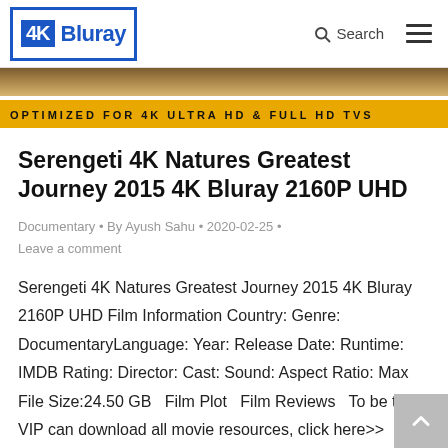4K Bluray — Search — Menu
[Figure (screenshot): Banner image showing wildlife scene with yellow bar reading OPTIMIZED FOR 4K ULTRA HD & FULL HD TVs]
Serengeti 4K Natures Greatest Journey 2015 4K Bluray 2160P UHD
Documentary • By Ayush Sahu • 2020-02-25 • Leave a comment
Serengeti 4K Natures Greatest Journey 2015 4K Bluray 2160P UHD Film Information Country: Genre: DocumentaryLanguage: Year: Release Date: Runtime: IMDB Rating: Director: Cast: Sound: Aspect Ratio: Max File Size:24.50 GB   Film Plot   Film Reviews   To be the VIP can download all movie resources, click here>> Watch 4K Trailer of Serengeti